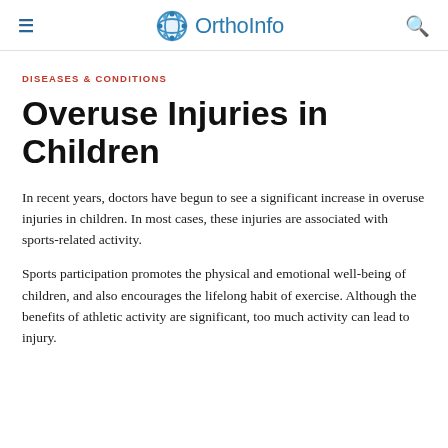OrthoInfo
DISEASES & CONDITIONS
Overuse Injuries in Children
In recent years, doctors have begun to see a significant increase in overuse injuries in children. In most cases, these injuries are associated with sports-related activity.
Sports participation promotes the physical and emotional well-being of children, and also encourages the lifelong habit of exercise. Although the benefits of athletic activity are significant, too much activity can lead to injury.